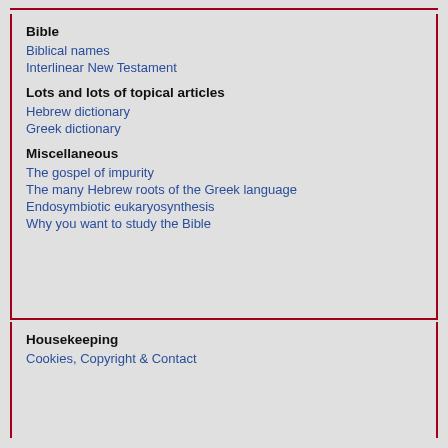Bible
Biblical names
Interlinear New Testament
Lots and lots of topical articles
Hebrew dictionary
Greek dictionary
Miscellaneous
The gospel of impurity
The many Hebrew roots of the Greek language
Endosymbiotic eukaryosynthesis
Why you want to study the Bible
Housekeeping
Cookies, Copyright & Contact